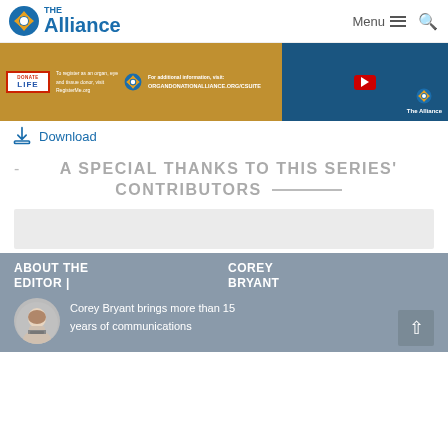The Alliance | Menu | Search
[Figure (screenshot): Banner image with Donate Life logo, organ donation information, and The Alliance video thumbnail]
Download
- A SPECIAL THANKS TO THIS SERIES' CONTRIBUTORS
[Figure (other): Gray placeholder content box]
ABOUT THE EDITOR |
COREY BRYANT
Corey Bryant brings more than 15 years of communications